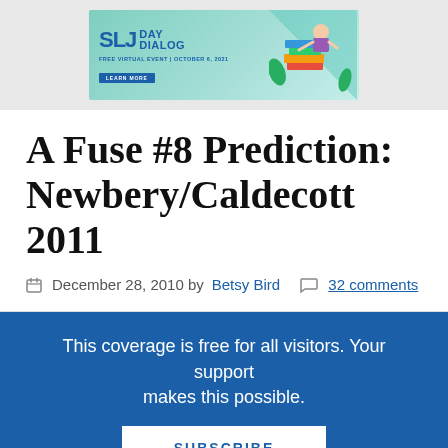[Figure (illustration): SLJ Day Dialog advertisement banner with teal background, SLJ logo in blue, 'FREE VIRTUAL EVENT | OCTOBER 6, 2021 LEARN MORE' text and illustrated books/character on right]
A Fuse #8 Prediction: Newbery/Caldecott 2011
December 28, 2010 by Betsy Bird  32 comments
This coverage is free for all visitors. Your support makes this possible.
SUBSCRIBE